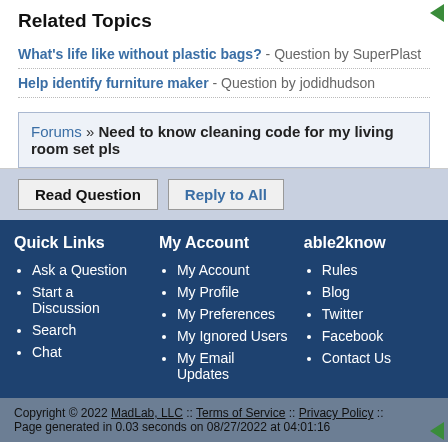Related Topics
What's life like without plastic bags? - Question by SuperPlast
Help identify furniture maker - Question by jodidhudson
Forums » Need to know cleaning code for my living room set pls
Read Question   Reply to All
Quick Links
Ask a Question
Start a Discussion
Search
Chat
My Account
My Account
My Profile
My Preferences
My Ignored Users
My Email Updates
able2know
Rules
Blog
Twitter
Facebook
Contact Us
Copyright © 2022 MadLab, LLC :: Terms of Service :: Privacy Policy :: Page generated in 0.03 seconds on 08/27/2022 at 04:01:16